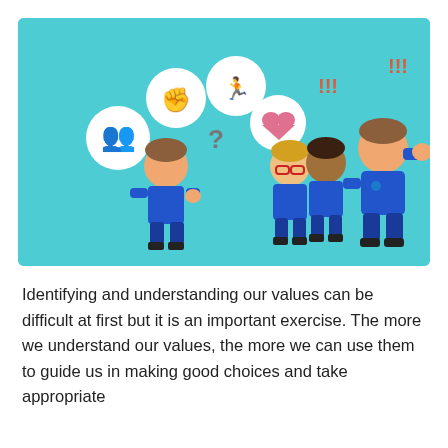[Figure (illustration): Cartoon illustration on a teal background showing four blocky cartoon children. On the left, one child stands alone with thought bubbles showing icons: a group of people, a fist, a running figure, and a heart, with a question mark among them. On the right side, three children are shown in conflict — one child with glasses and one darker-skinned child look upset, while a taller child raises their arm, with exclamation marks (!!!) above them.]
Identifying and understanding our values can be difficult at first but it is an important exercise. The more we understand our values, the more we can use them to guide us in making good choices and take appropriate